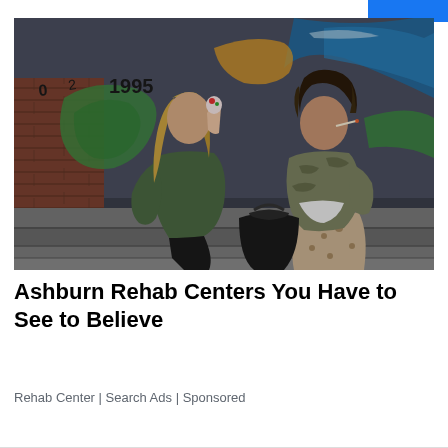[Figure (photo): Two young women sitting on steps in front of a graffiti-covered brick wall at night. The woman on the left has long blonde hair and wears a green jacket, holding an ice cream cone near her face. The woman on the right has curly dark hair, wearing a camouflage jacket and leopard-print skirt, appearing to smoke. A black bag sits between them.]
Ashburn Rehab Centers You Have to See to Believe
Rehab Center | Search Ads | Sponsored